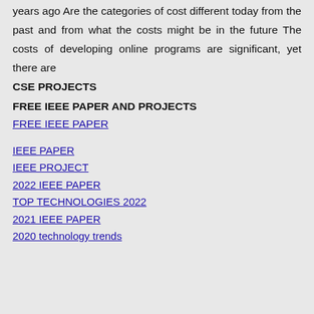years ago Are the categories of cost different today from the past and from what the costs might be in the future The costs of developing online programs are significant, yet there are
CSE PROJECTS
FREE IEEE PAPER AND PROJECTS
FREE IEEE PAPER
IEEE PAPER
IEEE PROJECT
2022 IEEE PAPER
TOP TECHNOLOGIES 2022
2021 IEEE PAPER
2020 technology trends